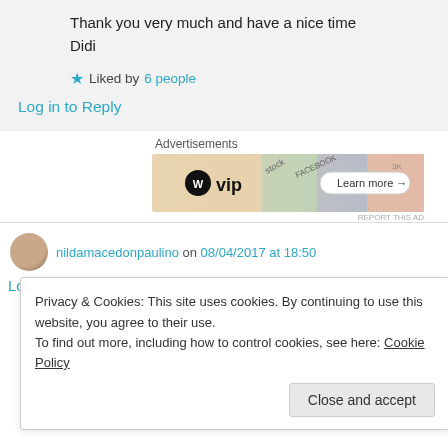Thank you very much and have a nice time
Didi
★ Liked by 6 people
Log in to Reply
Advertisements
[Figure (other): WordPress VIP advertisement banner with colorful background showing social media logos and a Learn more button]
nildamacedonpaulino on 08/04/2017 at 18:50
Privacy & Cookies: This site uses cookies. By continuing to use this website, you agree to their use.
To find out more, including how to control cookies, see here: Cookie Policy
Close and accept
Log in to Reply